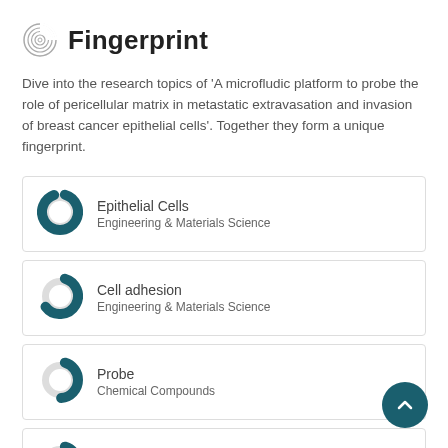Fingerprint
Dive into the research topics of 'A microfludic platform to probe the role of pericellular matrix in metastatic extravasation and invasion of breast cancer epithelial cells'. Together they form a unique fingerprint.
Epithelial Cells
Engineering & Materials Science
Cell adhesion
Engineering & Materials Science
Probe
Chemical Compounds
Microfluidics
Engineering & Materials Science